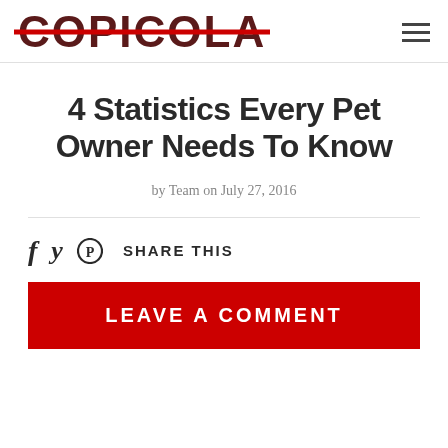COPICOLA
4 Statistics Every Pet Owner Needs To Know
by Team on July 27, 2016
f  y  ⊕  SHARE THIS
LEAVE A COMMENT